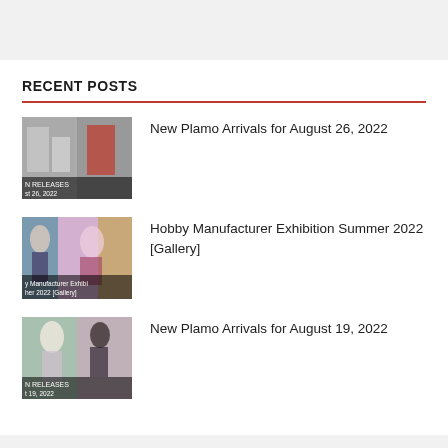RECENT POSTS
New Plamo Arrivals for August 26, 2022
Hobby Manufacturer Exhibition Summer 2022 [Gallery]
New Plamo Arrivals for August 19, 2022